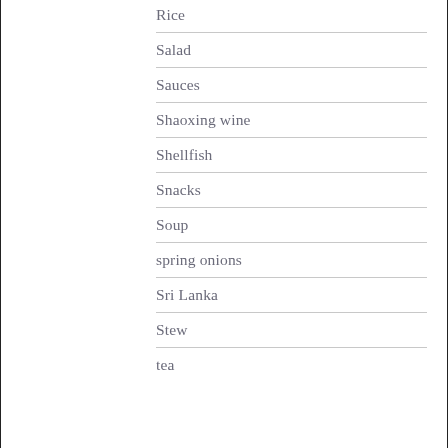Rice
Salad
Sauces
Shaoxing wine
Shellfish
Snacks
Soup
spring onions
Sri Lanka
Stew
tea